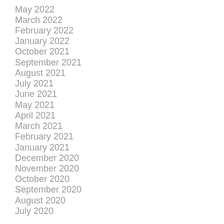May 2022
March 2022
February 2022
January 2022
October 2021
September 2021
August 2021
July 2021
June 2021
May 2021
April 2021
March 2021
February 2021
January 2021
December 2020
November 2020
October 2020
September 2020
August 2020
July 2020